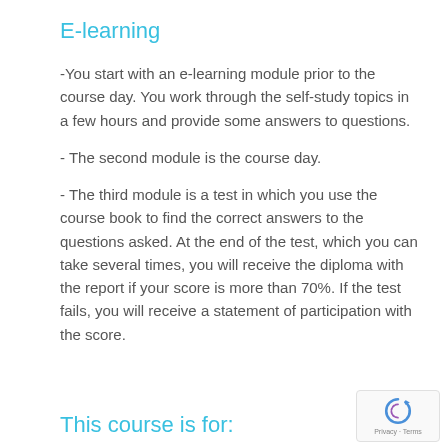E-learning
-You start with an e-learning module prior to the course day. You work through the self-study topics in a few hours and provide some answers to questions.
- The second module is the course day.
- The third module is a test in which you use the course book to find the correct answers to the questions asked. At the end of the test, which you can take several times, you will receive the diploma with the report if your score is more than 70%. If the test fails, you will receive a statement of participation with the score.
This course is for: